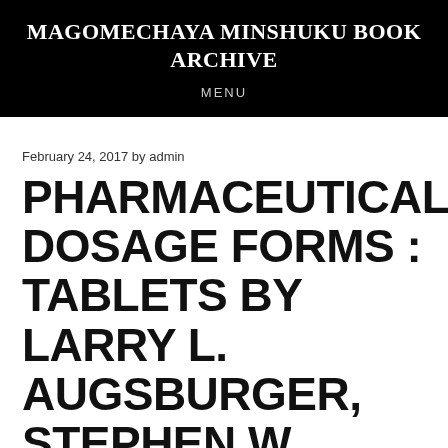MAGOMECHAYA MINSHUKU BOOK ARCHIVE
MENU
February 24, 2017 by admin
PHARMACEUTICAL DOSAGE FORMS : TABLETS BY LARRY L. AUGSBURGER, STEPHEN W. HOAG